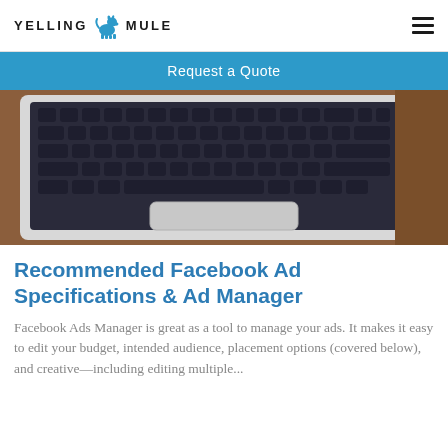YELLING MULE
Request a Quote
[Figure (photo): Close-up photo of a laptop keyboard with dark navy keys on a white body, viewed from an angle, resting on a wooden surface.]
Recommended Facebook Ad Specifications & Ad Manager
Facebook Ads Manager is great as a tool to manage your ads. It makes it easy to edit your budget, intended audience, placement options (covered below), and creative—including editing multiple...